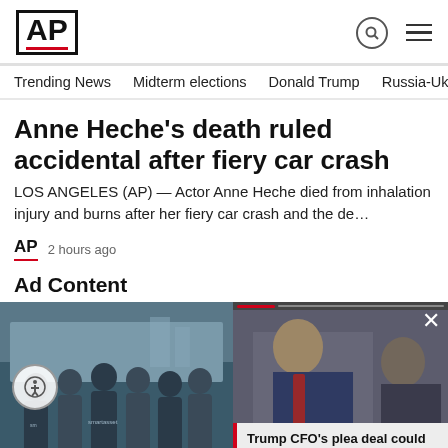AP
Trending News   Midterm elections   Donald Trump   Russia-Ukr
Anne Heche's death ruled accidental after fiery car crash
LOS ANGELES (AP) — Actor Anne Heche died from inhalation injury and burns after her fiery car crash and the de…
AP  2 hours ago
Ad Content
[Figure (photo): Group photo of people wearing smartasset branded t-shirts on a city street]
[Figure (photo): Video thumbnail showing a person in a suit with a red tie, Trump CFO story overlay]
Trump CFO's plea deal could make him a prosecution…